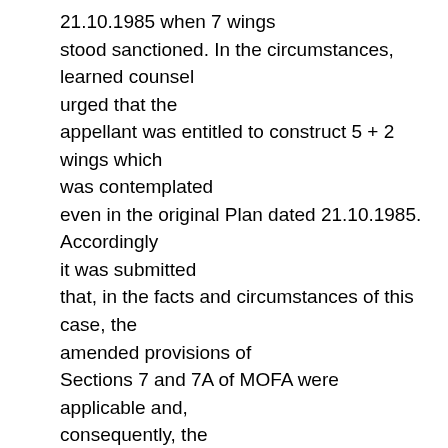21.10.1985 when 7 wings stood sanctioned. In the circumstances, learned counsel urged that the appellant was entitled to construct 5 + 2 wings which was contemplated even in the original Plan dated 21.10.1985. Accordingly it was submitted that, in the facts and circumstances of this case, the amended provisions of Sections 7 and 7A of MOFA were applicable and, consequently, the appellant was not obliged to execute a conveyance in favour of the society till the appellant is in a position to fully exploit the development potentiality of the suit plot. In the alternative, it is urged that, in any view of the matter, the appellant is not entitled to execute the conveyance